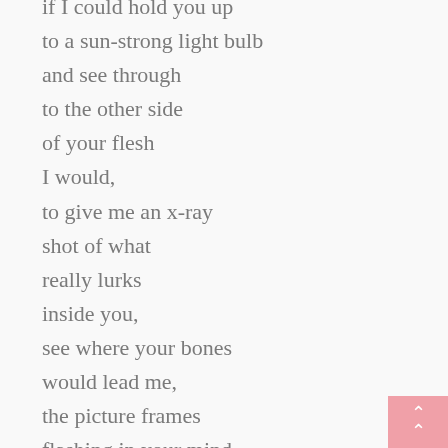if I could hold you up
to a sun-strong light bulb
and see through
to the other side
of your flesh
I would,
to give me an x-ray
shot of what
really lurks
inside you,
see where your bones
would lead me,
the picture frames
flashing in your mind